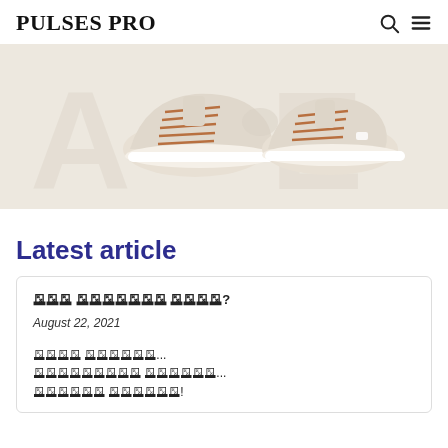PULSES PRO
[Figure (photo): Top-down view of beige/cream suede sneakers with brown laces on a light background with large faint letters]
Latest article
🅧🅧🅧 🅧🅧🅧🅧🅧🅧🅧 🅧🅧🅧🅧?
August 22, 2021
🅧🅧🅧🅧 🅧🅧🅧🅧🅧🅧... 🅧🅧🅧🅧🅧🅧🅧🅧🅧 🅧🅧🅧🅧🅧🅧... 🅧🅧🅧🅧🅧🅧 🅧🅧🅧🅧🅧🅧!